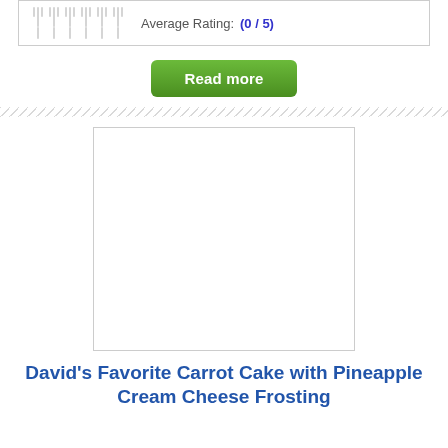[Figure (other): Fork rating icons (6 forks, grayed out) with Average Rating label and score (0/5)]
Read more
[Figure (photo): Empty white image placeholder with light gray border]
David’s Favorite Carrot Cake with Pineapple Cream Cheese Frosting